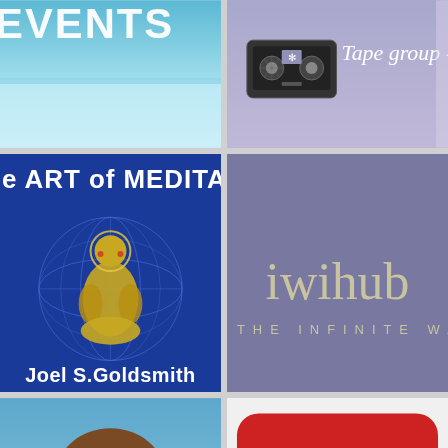[Figure (screenshot): Top-left image showing partial text 'EVENTS' with a blue sky/water background]
[Figure (screenshot): Top-right image showing a cassette tape on purple background with text 'Tape group -']
[Figure (illustration): Middle-left blue background with Buddhist/meditation figure and text 'e ART of MEDITATI' at top and 'Joel S. Goldsmith' at bottom]
[Figure (logo): Middle-right purple/slate background with text 'iwihub' and subtitle 'THE INFINITE WAY']
[Figure (photo): Bottom-left photo of a man with brown hair against blue sky background]
[Figure (logo): Bottom-right YouTube logo on red rounded rectangle background with 'You' and 'Tube' text in white]